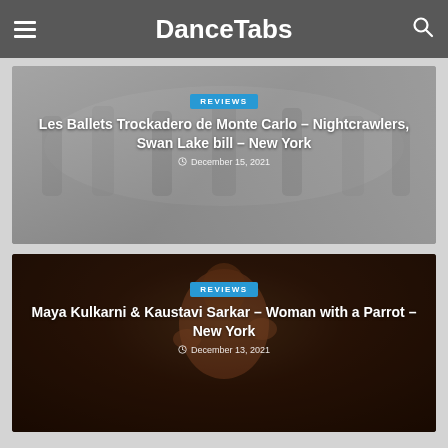DanceTabs
[Figure (photo): Group of ballet dancers in colorful costumes on stage, Les Ballets Trockadero de Monte Carlo]
REVIEWS
Les Ballets Trockadero de Monte Carlo – Nightcrawlers, Swan Lake bill – New York
December 15, 2021
[Figure (photo): Indian classical dancer Maya Kulkarni performing, dark background, wearing red and green costume]
REVIEWS
Maya Kulkarni & Kaustavi Sarkar – Woman with a Parrot – New York
December 13, 2021